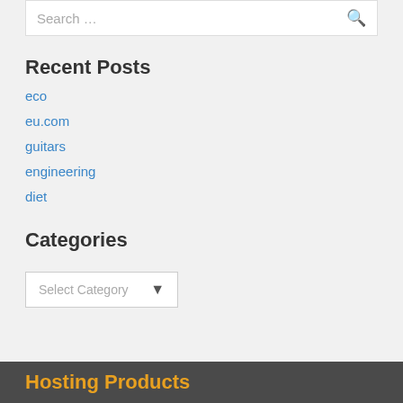Search …
Recent Posts
eco
eu.com
guitars
engineering
diet
Categories
Select Category
Hosting Products